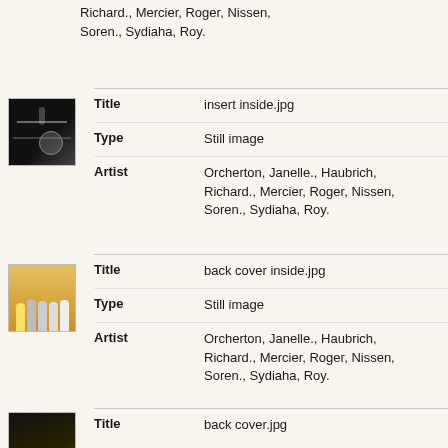Richard., Mercier, Roger, Nissen, Soren., Sydiaha, Roy.
[Figure (photo): Black and white album cover thumbnail showing a microphone/music equipment on dark background]
Title	insert inside.jpg
Type	Still image
Artist	Orcherton, Janelle., Haubrich, Richard., Mercier, Roger, Nissen, Soren., Sydiaha, Roy.
[Figure (photo): Color photo thumbnail showing a group of people standing together on a light background]
Title	back cover inside.jpg
Type	Still image
Artist	Orcherton, Janelle., Haubrich, Richard., Mercier, Roger, Nissen, Soren., Sydiaha, Roy.
[Figure (photo): Dark album cover thumbnail with orange/golden tones]
Title	back cover.jpg